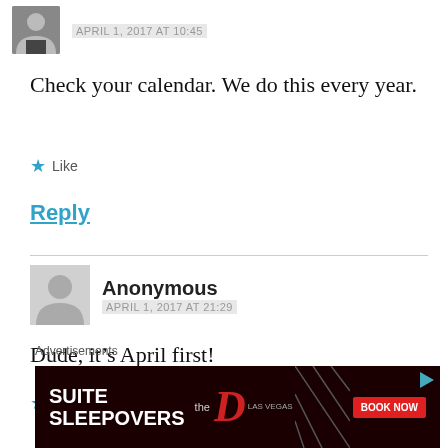APRIL 1, 2017 AT 10:45
Check your calendar. We do this every year.
★ Like
Reply
Anonymous
APRIL 1, 2017 AT 21:29
Dude, it's April first!
★ Like
Advertisements
[Figure (screenshot): Advertisement banner for Suite Sleepovers at The D Las Vegas with BOOK NOW button]